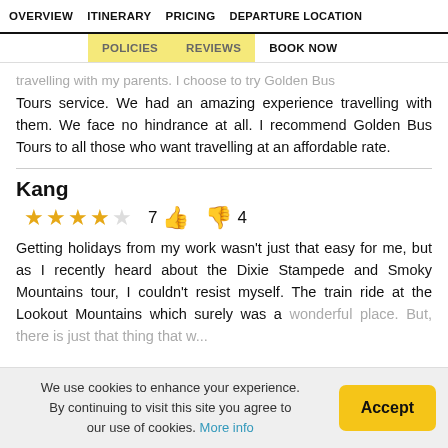OVERVIEW  ITINERARY  PRICING  DEPARTURE LOCATION  POLICIES  REVIEWS  BOOK NOW
travelling with my parents. I choose to try Golden Bus Tours service. We had an amazing experience travelling with them. We face no hindrance at all. I recommend Golden Bus Tours to all those who want travelling at an affordable rate.
Kang
★★★★☆  7 👍  🔴 4
Getting holidays from my work wasn't just that easy for me, but as I recently heard about the Dixie Stampede and Smoky Mountains tour, I couldn't resist myself. The train ride at the Lookout Mountains which surely was a wonderful place. But, there is just that thing that w...
We use cookies to enhance your experience. By continuing to visit this site you agree to our use of cookies. More info